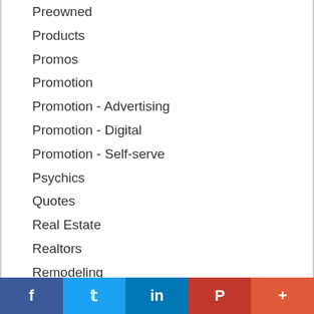Preowned
Products
Promos
Promotion
Promotion - Advertising
Promotion - Digital
Promotion - Self-serve
Psychics
Quotes
Real Estate
Realtors
Remodeling
Removal Services
Rental Products
f  Twitter  in  P  +